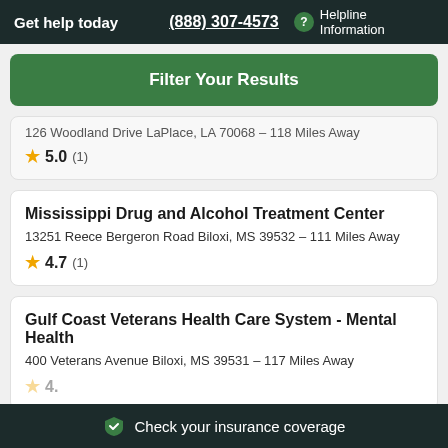Get help today  (888) 307-4573  ? Helpline Information
Filter Your Results
126 Woodland Drive LaPlace, LA 70068 - 118 Miles Away
★ 5.0 (1)
Mississippi Drug and Alcohol Treatment Center
13251 Reece Bergeron Road Biloxi, MS 39532 - 111 Miles Away
★ 4.7 (1)
Gulf Coast Veterans Health Care System - Mental Health
400 Veterans Avenue Biloxi, MS 39531 - 117 Miles Away
Check your insurance coverage